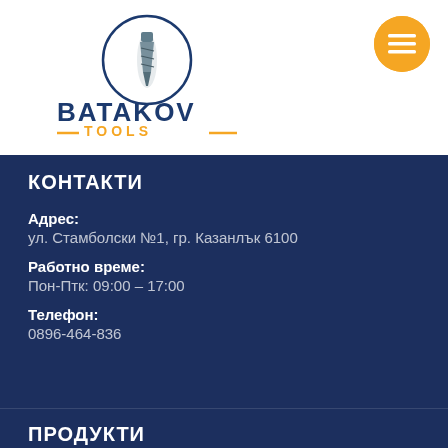[Figure (logo): Batakov Tools company logo: circular drill bit icon above bold blue 'BATAKOV' text and orange 'TOOLS' text with decorative lines]
[Figure (other): Orange circular hamburger menu button with three white horizontal lines]
КОНТАКТИ
Адрес:
ул. Стамболски №1, гр. Казанлък 6100
Работно време:
Пон-Птк: 09:00 – 17:00
Телефон:
0896-464-836
ПРОДУКТИ
Продукти